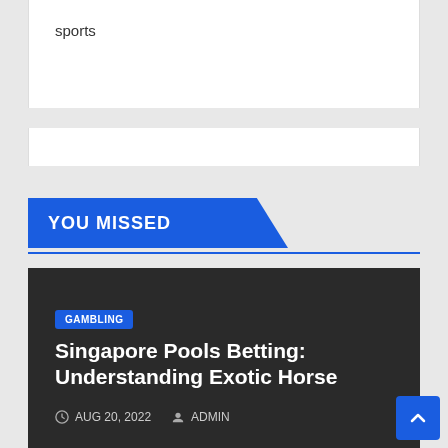sports
YOU MISSED
GAMBLING
Singapore Pools Betting: Understanding Exotic Horse
AUG 20, 2022   ADMIN